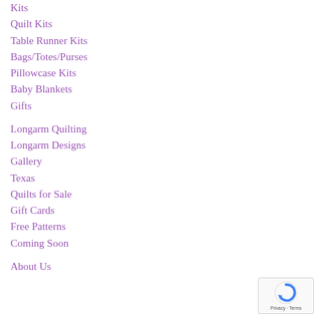Kits
Quilt Kits
Table Runner Kits
Bags/Totes/Purses
Pillowcase Kits
Baby Blankets
Gifts
Longarm Quilting
Longarm Designs
Gallery
Texas
Quilts for Sale
Gift Cards
Free Patterns
Coming Soon
About Us
[Figure (other): reCAPTCHA badge with Privacy and Terms links]